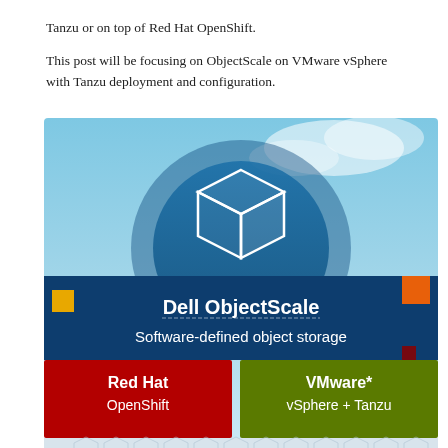Tanzu or on top of Red Hat OpenShift.
This post will be focusing on ObjectScale on VMware vSphere with Tanzu deployment and configuration.
[Figure (infographic): Dell ObjectScale architecture infographic showing Dell ObjectScale (Software-defined object storage) in the middle, supported by Red Hat OpenShift on the left and VMware* vSphere + Tanzu on the right, all sitting on VxRail | PowerEdge | Commodity Hardware at the bottom, with a 3D cube icon and cloud/sky background at the top.]